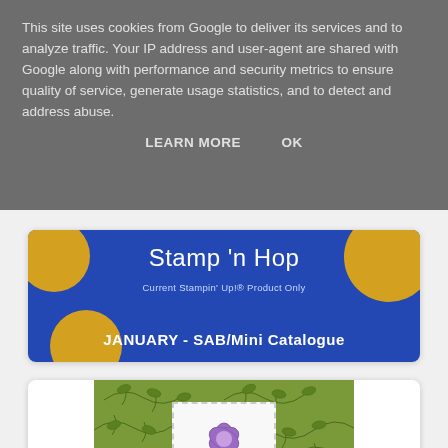This site uses cookies from Google to deliver its services and to analyze traffic. Your IP address and user-agent are shared with Google along with performance and security metrics to ensure quality of service, generate usage statistics, and to detect and address abuse.
LEARN MORE   OK
[Figure (illustration): Blue banner with gold circles reading 'Stamp 'n Hop', 'Current Stampin' Up!® Product Only', 'JANUARY - SAB/Mini Catalogue']
[Figure (photo): Craft card on green leaf-patterned background with a postage stamp featuring a purple flower]